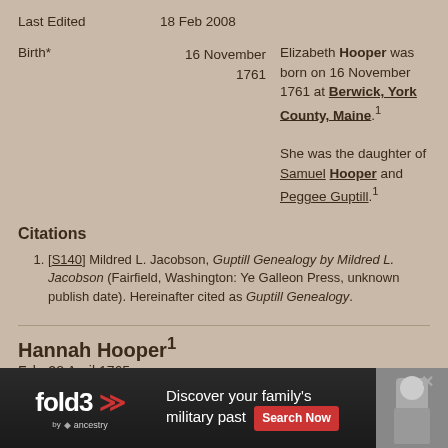Last Edited   18 Feb 2008
Birth*   16 November 1761   Elizabeth Hooper was born on 16 November 1761 at Berwick, York County, Maine.1 She was the daughter of Samuel Hooper and Peggee Guptill.1
Citations
[S140] Mildred L. Jacobson, Guptill Genealogy by Mildred L. Jacobson (Fairfield, Washington: Ye Galleon Press, unknown publish date). Hereinafter cited as Guptill Genealogy.
Hannah Hooper1
F, b. 28 April 1765
Father*
Mother
[Figure (other): Fold3 advertisement banner: Discover your family's military past, Search Now button, ancestry logo, soldier photo]